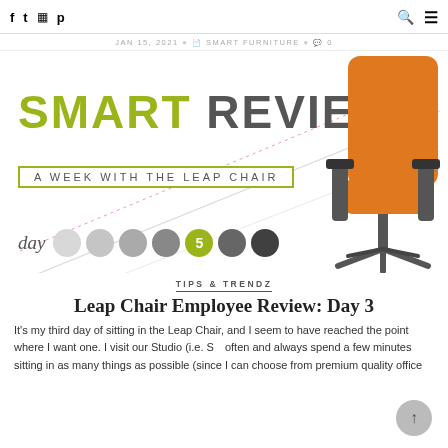Social icons (f, twitter, instagram, pinterest) | search icon | menu icon
JAN 15, 2021 | SMART FURNITURE | 0
[Figure (illustration): Smart Review banner image: 'SMART REVIEW' text in olive/gray, 'A WEEK WITH THE LEAP CHAIR' subtitle in a box, day dots 1-7 with day 5 highlighted in olive/green, diagonal design lines, orange Leap Chair in the right portion of the banner.]
TIPS & TRENDZ
Leap Chair Employee Review: Day 3
It's my third day of sitting in the Leap Chair, and I seem to have reached the point where I want one. I visit our Studio (i.e. Showroom) often and always spend a few minutes sitting in as many things as possible (since I can choose from premium quality office